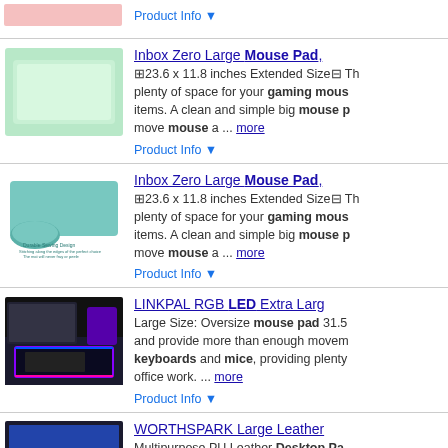Product Info (top partial row)
Inbox Zero Large Mouse Pad - 23.6 x 11.8 inches Extended Size. Plenty of space for your gaming mouse and items. A clean and simple big mouse pad to move mouse a ... more
Inbox Zero Large Mouse Pad - 23.6 x 11.8 inches Extended Size. Plenty of space for your gaming mouse and items. A clean and simple big mouse pad to move mouse a ... more
LINKPAL RGB LED Extra Large - Large Size: Oversize mouse pad 31.5 and provide more than enough movement for keyboards and mice, providing plenty of office work. ... more
WORTHSPARK Large Leather - Multipurpose PU Leather Desktop Pad space over a basic mouse pad or desk leather desk blotter, mouse pad desk coffee cup, writing ... more